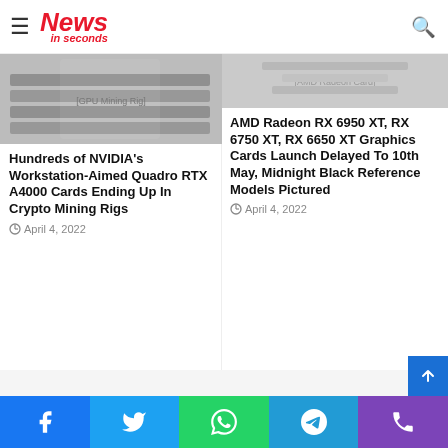News in seconds
[Figure (photo): GPU/graphics cards in a mining rig setup]
Hundreds of NVIDIA's Workstation-Aimed Quadro RTX A4000 Cards Ending Up In Crypto Mining Rigs
April 4, 2022
[Figure (photo): AMD Radeon graphics card reference model, midnight black]
AMD Radeon RX 6950 XT, RX 6750 XT, RX 6650 XT Graphics Cards Launch Delayed To 10th May, Midnight Black Reference Models Pictured
April 4, 2022
Facebook Twitter WhatsApp Telegram Phone